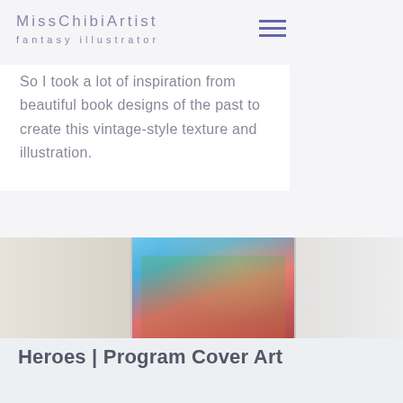MissChibiArtist fantasy illustrator
vers
ok.
So I took a lot of inspiration from beautiful book designs of the past to create this vintage-style texture and illustration.
[Figure (photo): Horizontal image strip showing three panels: left panel is a warm beige/tan gradient, center panel shows an anime-style illustration with blue sky and a colorful character with red hair and green/floral elements, right panel is a light grey/beige gradient.]
Heroes | Program Cover Art
Grand Rapids Comic Con program back cover contest winner
This piece won in a contest for Grand Rapids Comic Con's program cover artists.